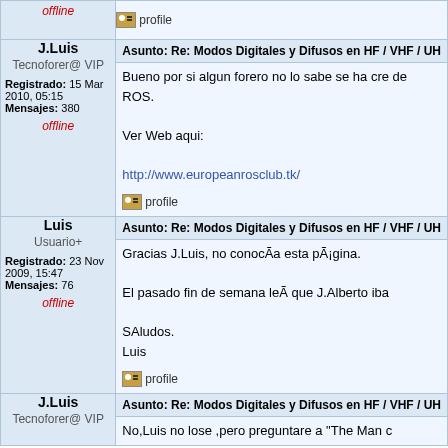| User | Post |
| --- | --- |
| offline | profile |  |
| J.Luis
Tecnoforer@ VIP
Registrado: 15 Mar 2010, 05:15
Mensajes: 380
offline | profile | Asunto: Re: Modos Digitales y Difusos en HF / VHF / UH
Bueno por si algun forero no lo sabe se ha cre de ROS.
Ver Web aqui:
http://www.europeanrosclub.tk/ |
| Luis
Usuario+
Registrado: 23 Nov 2009, 15:47
Mensajes: 76
offline | profile | Asunto: Re: Modos Digitales y Difusos en HF / VHF / UH
Gracias J.Luis, no conocÃa esta pÃ¡gina.
El pasado fin de semana leÃ que J.Alberto iba
SAludos.
Luis |
| J.Luis
Tecnoforer@ VIP | Asunto: Re: Modos Digitales y Difusos en HF / VHF / UH
No,Luis no lose ,pero preguntare a "The Man c |